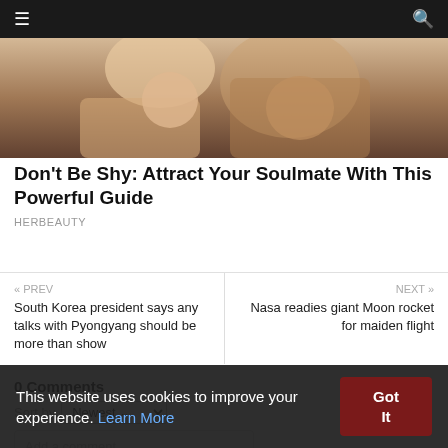≡  🔍
[Figure (photo): Partial view of two people, cropped close-up lifestyle/editorial photo]
Don't Be Shy: Attract Your Soulmate With This Powerful Guide
HERBEAUTY
« PREV
South Korea president says any talks with Pyongyang should be more than show
NEXT »
Nasa readies giant Moon rocket for maiden flight
0 Comments
Sort by  Newest ▾
This website uses cookies to improve your experience. Learn More
Add a comment...